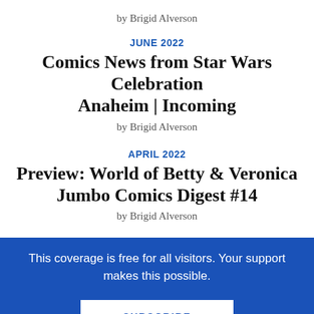by Brigid Alverson
JUNE 2022
Comics News from Star Wars Celebration Anaheim | Incoming
by Brigid Alverson
APRIL 2022
Preview: World of Betty & Veronica Jumbo Comics Digest #14
by Brigid Alverson
This coverage is free for all visitors. Your support makes this possible.
SUBSCRIBE